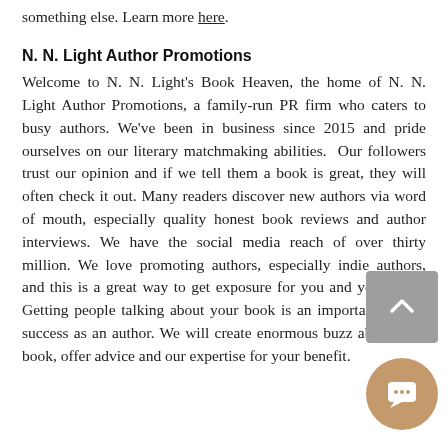a potential reader. This takes action to something else. Learn more here.
N. N. Light Author Promotions
Welcome to N. N. Light's Book Heaven, the home of N. N. Light Author Promotions, a family-run PR firm who caters to busy authors. We've been in business since 2015 and pride ourselves on our literary matchmaking abilities. Our followers trust our opinion and if we tell them a book is great, they will often check it out. Many readers discover new authors via word of mouth, especially quality honest book reviews and author interviews. We have the social media reach of over thirty million. We love promoting authors, especially indie authors, and this is a great way to get exposure for you and your book. Getting people talking about your book is an important step to success as an author. We will create enormous buzz about your book, offer advice and our expertise for your benefit.